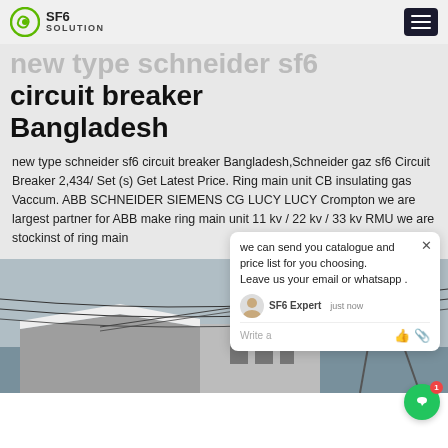SF6 SOLUTION
circuit breaker Bangladesh
new type schneider sf6 circuit breaker Bangladesh,Schneider gaz sf6 Circuit Breaker 2,434/ Set (s) Get Latest Price. Ring main unit CB insulating gas Vaccum. ABB SCHNEIDER SIEMENS CG LUCY LUCY Crompton we are largest partner for ABB make ring main unit 11 kv / 22 kv / 33 kv RMU we are stockinst of ring main
[Figure (photo): Outdoor electrical substation or distribution equipment with power lines and a transmission tower in the background, overcast sky.]